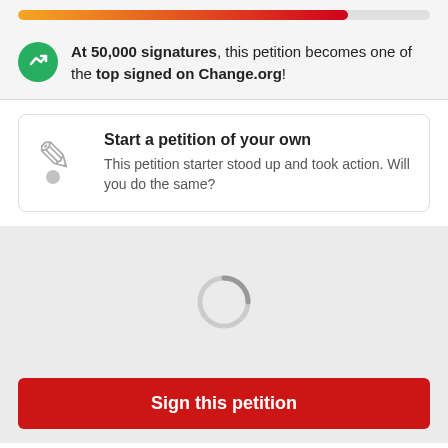[Figure (infographic): Progress bar with gradient from orange to red showing approximately 80% completion]
At 50,000 signatures, this petition becomes one of the top signed on Change.org!
Start a petition of your own
This petition starter stood up and took action. Will you do the same?
[Figure (infographic): Loading spinner / circular progress indicator in gray]
Sign this petition